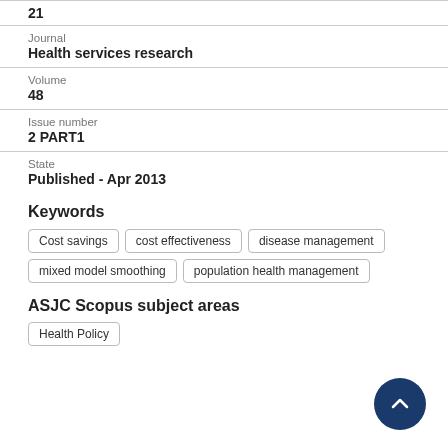21
Journal
Health services research
Volume
48
Issue number
2 PART1
State
Published - Apr 2013
Keywords
Cost savings
cost effectiveness
disease management
mixed model smoothing
population health management
ASJC Scopus subject areas
Health Policy